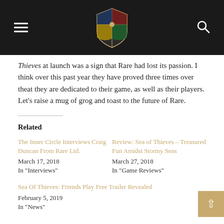The Inner Circle [logo]
Thieves at launch was a sign that Rare had lost its passion. I think over this past year they have proved three times over theat they are dedicated to their game, as well as their players. Let's raise a mug of grog and toast to the future of Rare.
Related
The Inner Circle Interviews Craig Duncan From Rare Ltd.
March 17, 2018
In "Interviews"
Review: Sea of Thieves – Treasured Fun Amidst Stormy Seas
March 27, 2018
In "Game Reviews"
Sea Of Thieves: Friends Play Free Trailer Revealed
February 5, 2019
In "News"